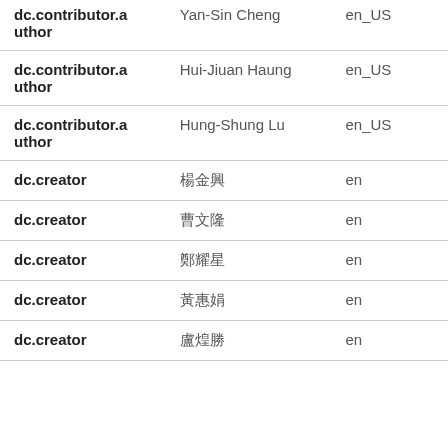| dc.contributor.author | Yan-Sin Cheng | en_US |
| dc.contributor.author | Hui-Jiuan Haung | en_US |
| dc.contributor.author | Hung-Shung Lu | en_US |
| dc.creator | 楊金興 | en |
| dc.creator | 曹文隆 | en |
| dc.creator | 鄭耀星 | en |
| dc.creator | 黃惠娟 | en |
| dc.creator | 盧煌勝 | en |